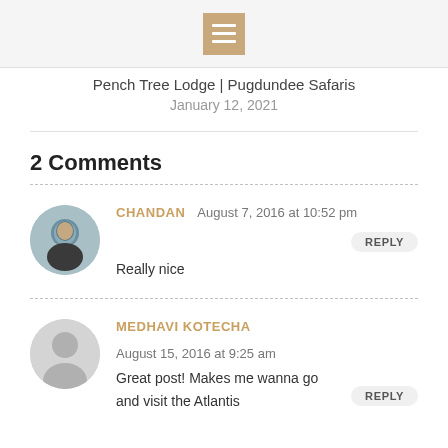[hamburger menu icon]
Pench Tree Lodge | Pugdundee Safaris
January 12, 2021
2 Comments
CHANDAN   August 7, 2016 at 10:52 pm   REPLY
Really nice
MEDHAVI KOTECHA   August 15, 2016 at 9:25 am   REPLY
Great post! Makes me wanna go and visit the Atlantis